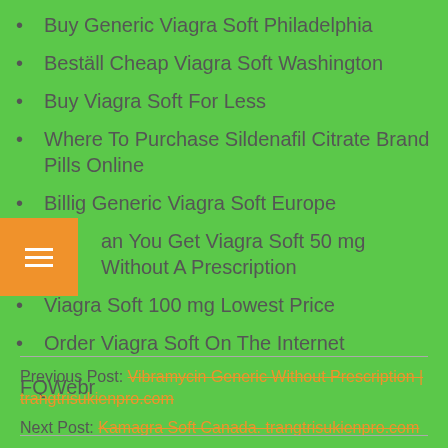Buy Generic Viagra Soft Philadelphia
Beställ Cheap Viagra Soft Washington
Buy Viagra Soft For Less
Where To Purchase Sildenafil Citrate Brand Pills Online
Billig Generic Viagra Soft Europe
Can You Get Viagra Soft 50 mg Without A Prescription
Viagra Soft 100 mg Lowest Price
Order Viagra Soft On The Internet
FQWebr
Previous Post: Vibramycin Generic Without Prescription | trangtrisukienpro.com
Next Post: Kamagra Soft Canada. trangtrisukienpro.com